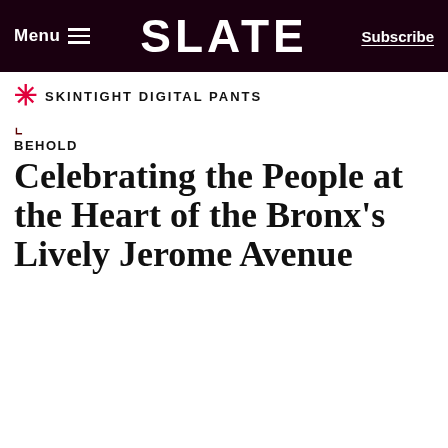Menu  SLATE  Subscribe
SKINTIGHT DIGITAL PANTS
BEHOLD
Celebrating the People at the Heart of the Bronx's Lively Jerome Avenue
We Use Cookies and Related Technology
Slate and our partners use cookies and related technology to deliver relevant advertising on our site, in emails and across the Internet. We and our partners also use these technologies to personalize content and perform site analytics. For more information, see our terms and privacy policy. Privacy Policy
OK